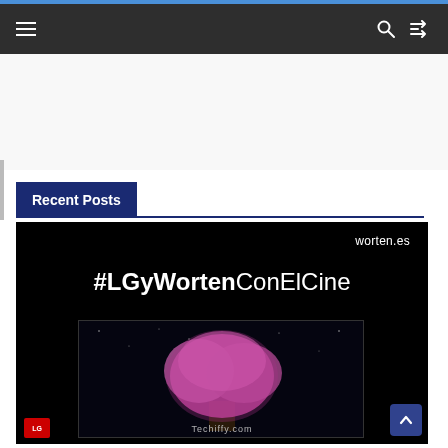Navigation bar with hamburger menu, search icon, and shuffle icon
Recent Posts
[Figure (screenshot): Advertisement image with black background showing '#LGyWortenConElCine' text in white, 'worten.es' branding top right, an LG OLED TV displaying a glowing pink tree against dark background, 'Techiify.com' watermark, and LG logo badge bottom left]